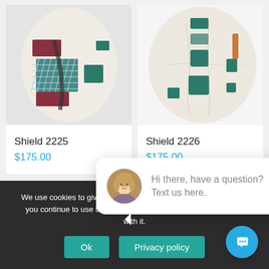[Figure (photo): Ceramic shield artwork 2225 - oval shaped with geometric patterns in red, teal, and dark colors on white background]
Shield 2225
$175.00
[Figure (photo): Ceramic shield artwork 2226 - oval shaped with teal rectangular patches on white/cream background]
Shield 2226
$175.00
close
[Figure (photo): Chat support avatar - woman with blonde hair]
Hi there, have a question? Text us here.
We use cookies to give you the best experience on our website. If you continue to use this site we will assume that you are happy with it.
Ok
Privacy policy